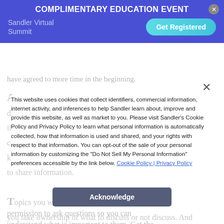[Figure (screenshot): Promotional banner overlay for Sandler Virtual Summit complimentary education event with Get Registered button and close X]
have agreed to more time in the beginning.
Agenda of their expectations means you discover what is important to them first. Even if they have questions, at the beginning of the conversation, allow them to go first. Once you know what's important to them, you might want to share information.
This website uses cookies that collect identifiers, commercial information, internet activity, and inferences to help Sandler learn about, improve and provide this website, as well as market to you. Please visit Sandler's Cookie Policy and Privacy Policy to learn what personal information is automatically collected, how that information is used and shared, and your rights with respect to that information. You can opt-out of the sale of your personal information by customizing the "Do Not Sell My Personal Information" preferences accessible by the link below. Cookie Policy | Privacy Policy
Topics you want to include or exclude means you take ownership of what to discuss or not discuss. And always get permission to ask questions so you can understand what is important to them. Get the truth on the table. Let them know exactly what you want to talk about and what you will be doing during the conversation, like asking questions.